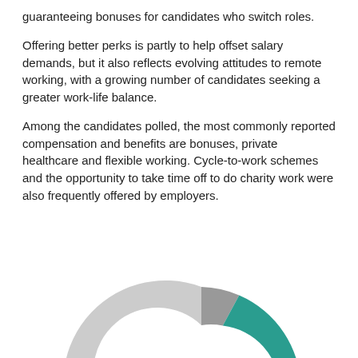guaranteeing bonuses for candidates who switch roles.
Offering better perks is partly to help offset salary demands, but it also reflects evolving attitudes to remote working, with a growing number of candidates seeking a greater work-life balance.
Among the candidates polled, the most commonly reported compensation and benefits are bonuses, private healthcare and flexible working. Cycle-to-work schemes and the opportunity to take time off to do charity work were also frequently offered by employers.
[Figure (donut-chart): Holiday entitlement]